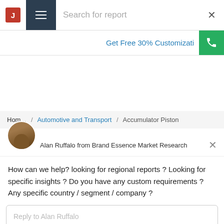[Figure (screenshot): Top navigation bar with logo, hamburger menu, search field saying 'Search for report', and X close button]
Get Free 30% Customizati
[Figure (screenshot): Green phone button on the right side of the CTA bar]
Home / Automotive and Transport / Accumulator Piston
[Figure (photo): Avatar photo of Alan Ruffalo, a man in a dark jacket]
Alan Ruffalo from Brand Essence Market Research
How can we help? looking for regional reports ? Looking for specific insights ? Do you have any custom requirements ? Any specific country / segment / company ?
Reply to Alan Ruffalo
Chat ⚡ by Drift